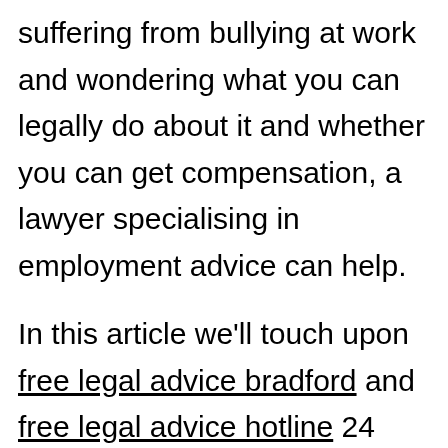suffering from bullying at work and wondering what you can legally do about it and whether you can get compensation, a lawyer specialising in employment advice can help.
In this article we'll touch upon free legal advice bradford and free legal advice hotline 24 hours greater manchester together with free legal advice